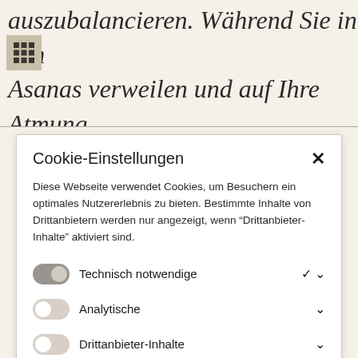auszubalancieren. Während Sie in den Asanas verweilen und auf Ihre Atmung konzentrieren, lauschen Sie den Tönen von
Cookie-Einstellungen
Diese Webseite verwendet Cookies, um Besuchern ein optimales Nutzererlebnis zu bieten. Bestimmte Inhalte von Drittanbietern werden nur angezeigt, wenn "Drittanbieter-Inhalte" aktiviert sind.
Technisch notwendige
Analytische
Drittanbieter-Inhalte
ALLE AKZEPTIEREN
SPEICHERN